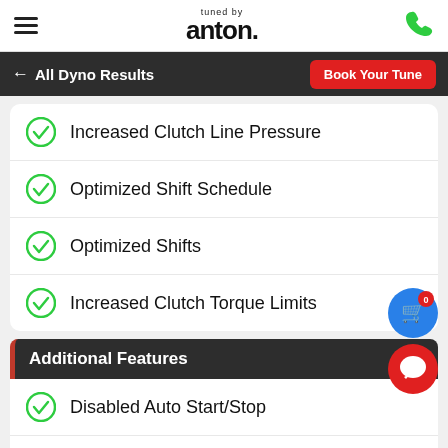tuned by anton
← All Dyno Results | Book Your Tune
Increased Clutch Line Pressure
Optimized Shift Schedule
Optimized Shifts
Increased Clutch Torque Limits
Additional Features
Disabled Auto Start/Stop
Disabled Motor Sound
Improved Thermal Dynamics
Linearised Accelerator